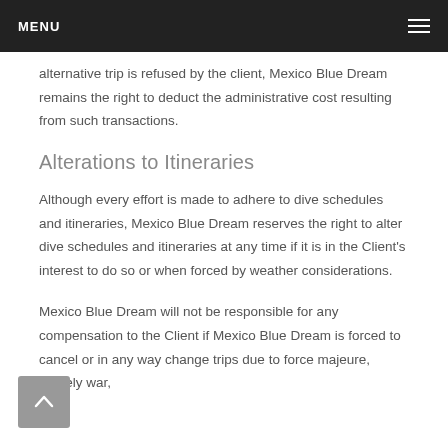MENU
alternative trip is refused by the client, Mexico Blue Dream remains the right to deduct the administrative cost resulting from such transactions.
Alterations to Itineraries
Although every effort is made to adhere to dive schedules and itineraries, Mexico Blue Dream reserves the right to alter dive schedules and itineraries at any time if it is in the Client's interest to do so or when forced by weather considerations.
Mexico Blue Dream will not be responsible for any compensation to the Client if Mexico Blue Dream is forced to cancel or in any way change trips due to force majeure, namely war,